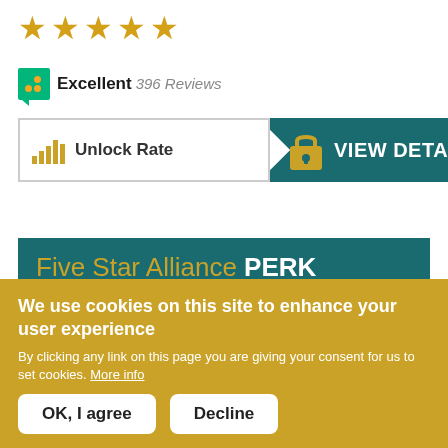[Figure (other): Five gold star rating icons]
Excellent 396 Reviews
[Figure (other): Unlock Rate button with bar chart icon and arrow]
[Figure (other): VIEW DETAILS button with lock icon on teal background]
Five Star Alliance PERK
Reservations booked under the "5 Star Signature Package" rate or "Best Available Rate" will also include Continental breakfast for each guest daily in
We use cookies on this site to enhance your user experience
By clicking any link on this page you are giving your consent for us to set cookies. More info
OK, I agree
Decline